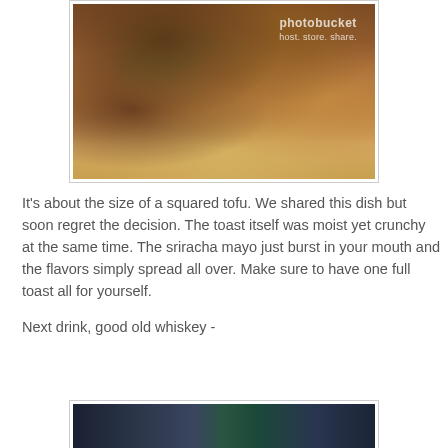[Figure (photo): Close-up photograph of a fried sandwich or toast with lettuce/greens visible, sauce dripping on paper wrapper. Photobucket watermark visible in top right.]
It's about the size of a squared tofu. We shared this dish but soon regret the decision. The toast itself was moist yet crunchy at the same time. The sriracha mayo just burst in your mouth and the flavors simply spread all over. Make sure to have one full toast all for yourself.
Next drink, good old whiskey -
[Figure (photo): Partially visible photo of drinks or bar scene, cropped at bottom of page.]